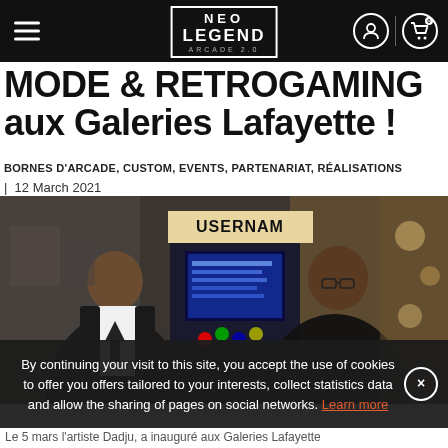Neo Legend Arcade 2.0 — navigation bar with hamburger menu, logo, user icon and cart icon
MODE & RETROGAMING aux Galeries Lafayette !
BORNES D'ARCADE, CUSTOM, EVENTS, PARTENARIAT, RÉALISATIONS
| 12 March 2021
[Figure (photo): Two men standing in front of a custom arcade machine labeled USERNAME inside Galeries Lafayette store]
By continuing your visit to this site, you accept the use of cookies to offer you offers tailored to your interests, collect statistics data and allow the sharing of pages on social networks. Learn more
Le 5 mars l'artiste Dadju, a inauguré aux Galeries Lafayette